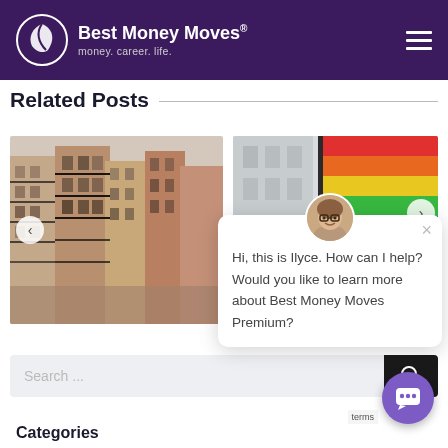Best Money Moves - money. career. life.
Related Posts
[Figure (photo): Photo of New York City brick apartment buildings with fire escapes]
[Figure (photo): Photo of a rainbow pride flag being held up in a city street]
[Figure (photo): Chat popup with avatar of woman with glasses, message: Hi, this is Ilyce. How can I help? Would you like to learn more about Best Money Moves Premium?]
Hi, this is Ilyce. How can I help? Would you like to learn more about Best Money Moves Premium?
Categories